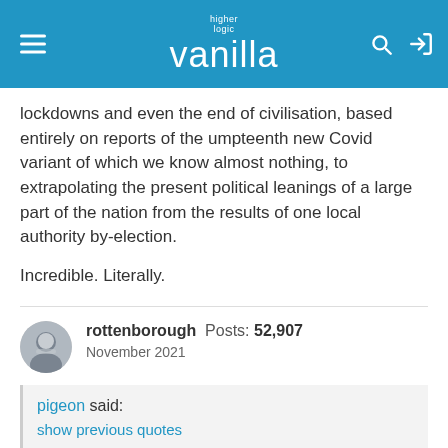higher logic vanilla
lockdowns and even the end of civilisation, based entirely on reports of the umpteenth new Covid variant of which we know almost nothing, to extrapolating the present political leanings of a large part of the nation from the results of one local authority by-election.
Incredible. Literally.
rottenborough Posts: 52,907 November 2021
pigeon said: show previous quotes And so, we move swiftly on from catastrophising